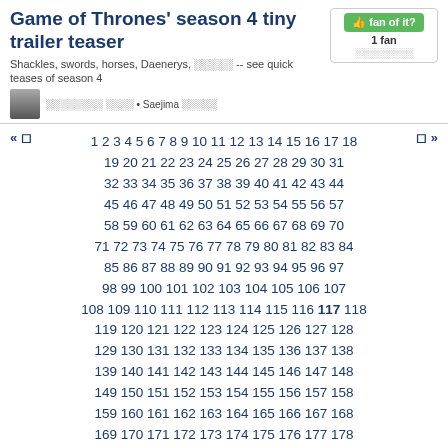Game of Thrones' season 4 tiny trailer teaser
Shackles, swords, horses, Daenerys, ????? -- see quick teases of season 4
???????? ???? • Saejima ?????
1 2 3 4 5 6 7 8 9 10 11 12 13 14 15 16 17 18 19 20 21 22 23 24 25 26 27 28 29 30 31 32 33 34 35 36 37 38 39 40 41 42 43 44 45 46 47 48 49 50 51 52 53 54 55 56 57 58 59 60 61 62 63 64 65 66 67 68 69 70 71 72 73 74 75 76 77 78 79 80 81 82 83 84 85 86 87 88 89 90 91 92 93 94 95 96 97 98 99 100 101 102 103 104 105 106 107 108 109 110 111 112 113 114 115 116 117 118 119 120 121 122 123 124 125 126 127 128 129 130 131 132 133 134 135 136 137 138 139 140 141 142 143 144 145 146 147 148 149 150 151 152 153 154 155 156 157 158 159 160 161 162 163 164 165 166 167 168 169 170 171 172 173 174 175 176 177 178 179 180 181 182 183 184 185 186 187 188